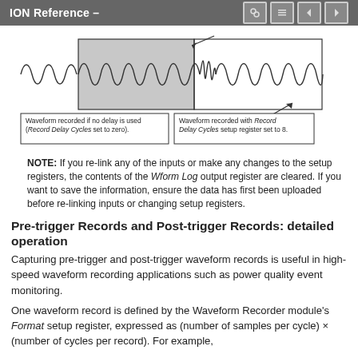ION Reference –
[Figure (illustration): Waveform diagram showing two waveform records. Left: waveform recorded if no delay is used (Record Delay Cycles set to zero), shown in a shaded box. Right: waveform recorded with Record Delay Cycles setup register set to 8, shown in an outlined box. Arrows indicate the two waveform regions.]
NOTE: If you re-link any of the inputs or make any changes to the setup registers, the contents of the Wform Log output register are cleared. If you want to save the information, ensure the data has first been uploaded before re-linking inputs or changing setup registers.
Pre-trigger Records and Post-trigger Records: detailed operation
Capturing pre-trigger and post-trigger waveform records is useful in high-speed waveform recording applications such as power quality event monitoring.
One waveform record is defined by the Waveform Recorder module's Format setup register, expressed as (number of samples per cycle) × (number of cycles per record). For example,